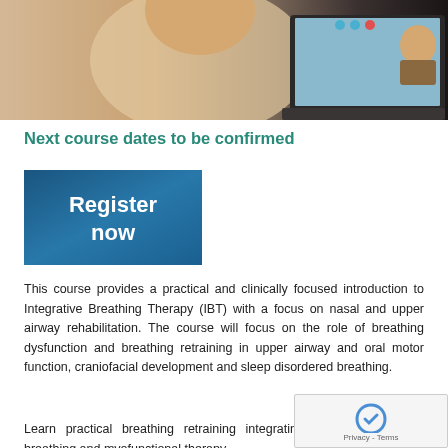[Figure (photo): Woman using a laptop for a video call, seen from behind/side angle. Laptop screen shows a video conference with a person visible on screen.]
Next course dates to be confirmed
[Figure (illustration): Blue gradient button with white text reading 'Register now']
This course provides a practical and clinically focused introduction to Integrative Breathing Therapy (IBT) with a focus on nasal and upper airway rehabilitation. The course will focus on the role of breathing dysfunction and breathing retraining in upper airway and oral motor function, craniofacial development and sleep disordered breathing.
Learn practical breathing retraining integrating the w... of body breathing and myofunctional therapy